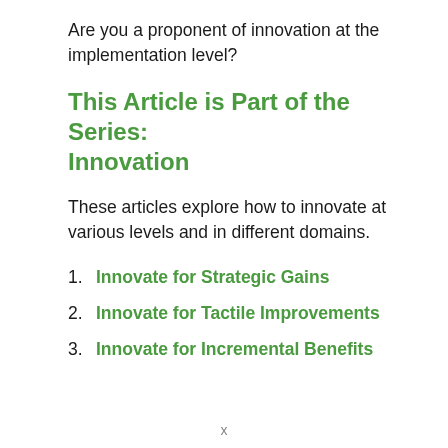Are you a proponent of innovation at the implementation level?
This Article is Part of the Series: Innovation
These articles explore how to innovate at various levels and in different domains.
1. Innovate for Strategic Gains
2. Innovate for Tactile Improvements
3. Innovate for Incremental Benefits
x